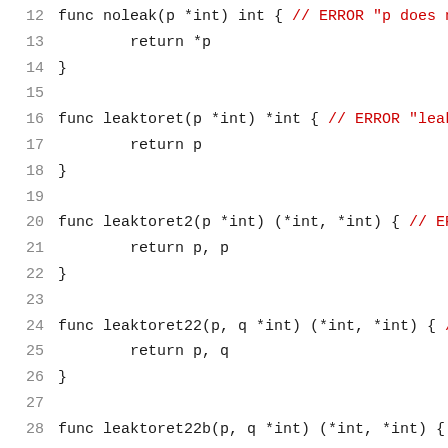12    func noleak(p *int) int { // ERROR "p does not e...
13            return *p
14    }
15
16    func leaktoret(p *int) *int { // ERROR "leaking...
17            return p
18    }
19
20    func leaktoret2(p *int) (*int, *int) { // ERROR
21            return p, p
22    }
23
24    func leaktoret22(p, q *int) (*int, *int) { // ER...
25            return p, q
26    }
27
28    func leaktoret22b(p, q *int) (*int, *int) { // ...
29            return leaktoret22(q, p)
30    }
31
32    func leaktoret22c(p, q *int) (*int, *int) { //